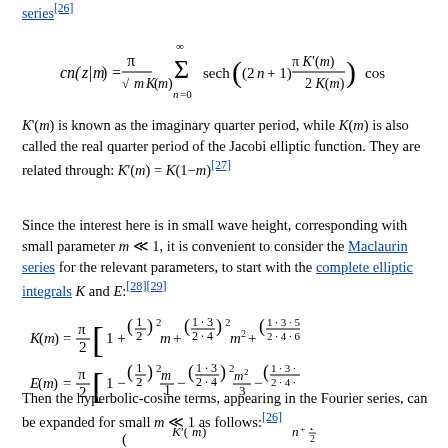series[26]
K'(m) is known as the imaginary quarter period, while K(m) is also called the real quarter period of the Jacobi elliptic function. They are related through: K'(m) = K(1−m)[27]
Since the interest here is in small wave height, corresponding with small parameter m ≪ 1, it is convenient to consider the Maclaurin series for the relevant parameters, to start with the complete elliptic integrals K and E:[28][29]
Then the hyperbolic-cosine terms, appearing in the Fourier series, can be expanded for small m ≪ 1 as follows:[26]